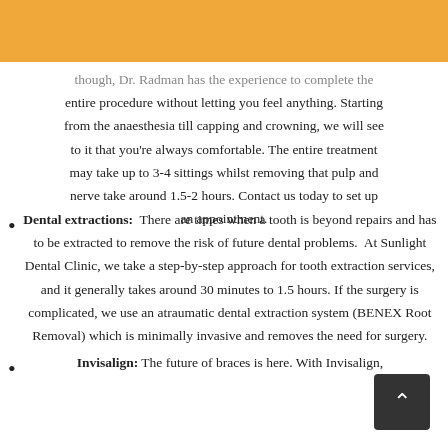though, Dr. Radman has the experience to complete the entire procedure without letting you feel anything. Starting from the anaesthesia till capping and crowning, we will see to it that you're always comfortable. The entire treatment may take up to 3-4 sittings whilst removing that pulp and nerve take around 1.5-2 hours. Contact us today to set up an appointment.
Dental extractions: There are times when a tooth is beyond repairs and has to be extracted to remove the risk of future dental problems. At Sunlight Dental Clinic, we take a step-by-step approach for tooth extraction services, and it generally takes around 30 minutes to 1.5 hours. If the surgery is complicated, we use an atraumatic dental extraction system (BENEX Root Removal) which is minimally invasive and removes the need for surgery.
Invisalign: The future of braces is here. With Invisalign,